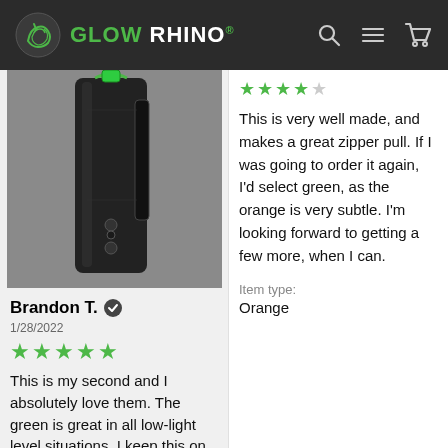GLOW RHINO
[Figure (photo): Photo of a black knife sheath/holster with a green glow-in-the-dark zipper pull, lying on a concrete surface]
Brandon T. ✓
1/28/2022
★★★★★
This is my second and I absolutely love them. The green is great in all low-light level situations. I keep this on my prized
★★★★☆
This is very well made, and makes a great zipper pull. If I was going to order it again, I'd select green, as the orange is very subtle. I'm looking forward to getting a few more, when I can.
Item type:
Orange